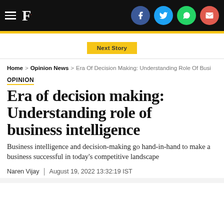F. [Financial Express logo with social icons: Facebook, Twitter, WhatsApp, Email]
Next Story
Home > Opinion News > Era Of Decision Making: Understanding Role Of Busi...
OPINION
Era of decision making: Understanding role of business intelligence
Business intelligence and decision-making go hand-in-hand to make a business successful in today's competitive landscape
Naren Vijay | August 19, 2022 13:32:19 IST